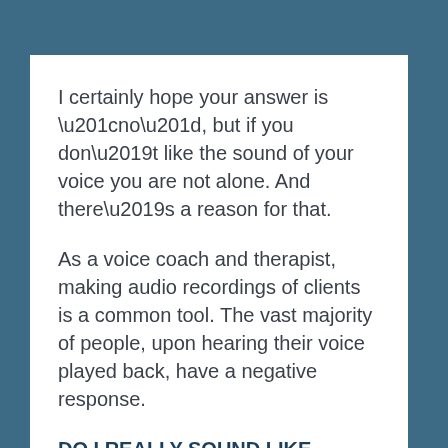I certainly hope your answer is “no”, but if you don’t like the sound of your voice you are not alone. And there’s a reason for that.
As a voice coach and therapist, making audio recordings of clients is a common tool. The vast majority of people, upon hearing their voice played back, have a negative response.
DO I REALLY SOUND LIKE THAT?
UGH, I HATE THE SOUND OF MY VOICE.